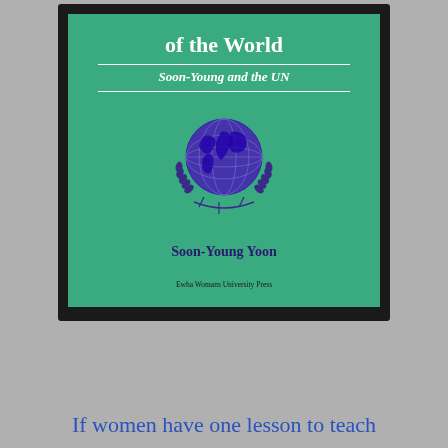[Figure (photo): A photograph of a book cover displayed on a dark surface. The book has a green cover with white text reading 'of the World' at the top, followed by a horizontal rule, then italic subtitle 'Soon-Young and the UN', another rule, a purple UN-style globe with laurel wreath emblem in the center, and the author name 'Soon-Young Yoon' in dark blue, with 'Ewha Womans University Press' at the bottom in small text.]
If women have one lesson to teach